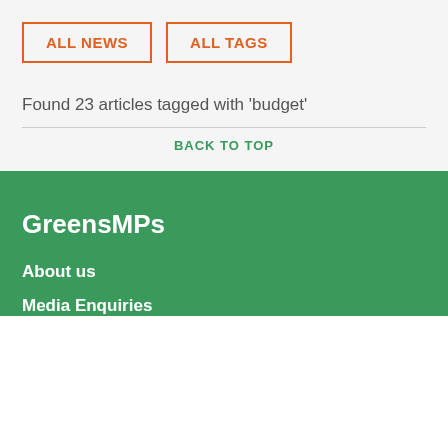ALL NEWS
ALL TAGS
Found 23 articles tagged with 'budget'
BACK TO TOP
GreensMPs
About us
Media Enquiries